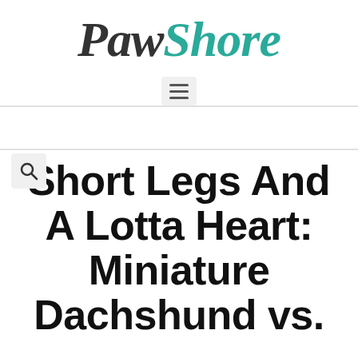[Figure (logo): PawShore website logo in italic serif font, 'Paw' in dark gray and 'Shore' in teal/green color]
[Figure (other): Hamburger menu icon — three horizontal lines on a light gray rounded rectangle background]
[Figure (other): Search icon — magnifying glass on a light gray rounded rectangle background]
Short Legs And A Lotta Heart: Miniature Dachshund vs.